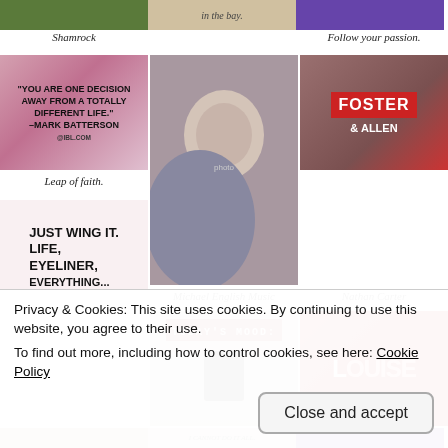[Figure (photo): Top row partial images: left - nature/outdoor photo, center - text caption 'in the bay.', right - purple banner image]
Shamrock
Follow your passion.
[Figure (photo): Pink bokeh background with bold quote: YOU ARE ONE DECISION AWAY FROM A TOTALLY DIFFERENT LIFE. -MARK BATTERSON @IBL.COM]
[Figure (photo): Photo of a man and woman smiling together, man in grey t-shirt, woman with blonde hair]
[Figure (photo): Foster Allen concert/event photo with red FOSTER sign, man in black vest kissing blonde woman]
Leap of faith.
Michael English Music
Nathan Carter
[Figure (photo): White background with bold black text: JUST WING IT. LIFE, EYELINER, EVERYTHING...]
[Figure (photo): TODAY'S MOOD: person in black sitting in front of red door]
[Figure (photo): LOUISE CASEY sign with two women posing together]
Privacy & Cookies: This site uses cookies. By continuing to use this website, you agree to their use.
To find out more, including how to control cookies, see here: Cookie Policy
[Figure (screenshot): Close and accept button]